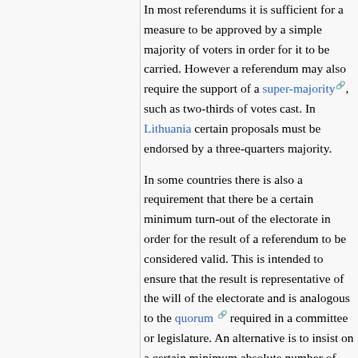In most referendums it is sufficient for a measure to be approved by a simple majority of voters in order for it to be carried. However a referendum may also require the support of a super-majority, such as two-thirds of votes cast. In Lithuania certain proposals must be endorsed by a three-quarters majority.
In some countries there is also a requirement that there be a certain minimum turn-out of the electorate in order for the result of a referendum to be considered valid. This is intended to ensure that the result is representative of the will of the electorate and is analogous to the quorum required in a committee or legislature. An alternative is to insist on a certain minimum absolute number of yes votes before a measure can be deemed to have been carried—or of no votes if it is to be deemed vetoed.
The franchise in a referendum is not necessarily the same as that for elections. For example, in the Republic of Ireland only citizens may vote in a referendum whereas British citizens resident in the state are entitled